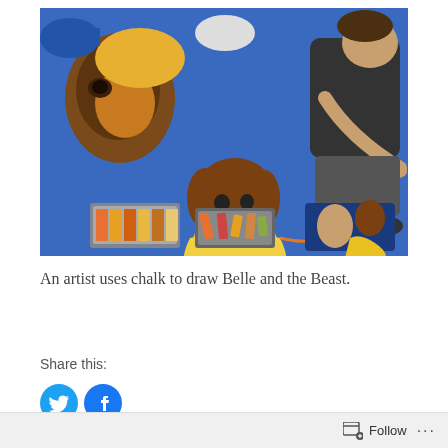[Figure (photo): A person crouching over a large chalk drawing on the ground, depicting Belle and the Beast from Beauty and the Beast. Chalk pastels are visible in trays in the foreground. A reference image of Beauty and the Beast is also visible.]
An artist uses chalk to draw Belle and the Beast.
Share this: